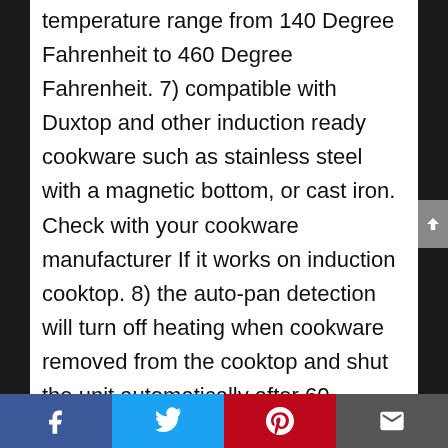temperature range from 140 Degree Fahrenheit to 460 Degree Fahrenheit. 7) compatible with Duxtop and other induction ready cookware such as stainless steel with a magnetic bottom, or cast iron. Check with your cookware manufacturer If it works on induction cooktop. 8) the auto-pan detection will turn off heating when cookware removed from the cooktop and shut the unit automatically after 60 seconds if no cookware is detected. 9) low and high voltage warning system. 10) equipped with diagnostic error message system. 11) ETL approved. Duxtop Induction Cooktop is easy to install (plug in) and easy to use. These